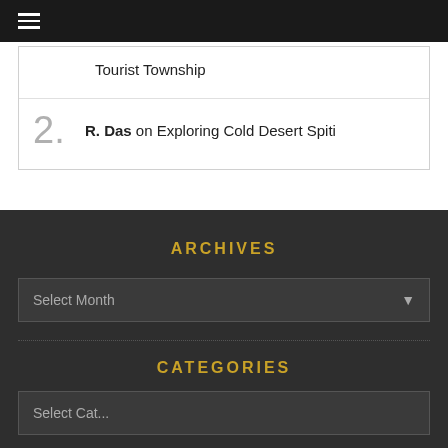☰ (hamburger menu)
Tourist Township
R. Das on Exploring Cold Desert Spiti
ARCHIVES
Select Month
CATEGORIES
Select Cat...